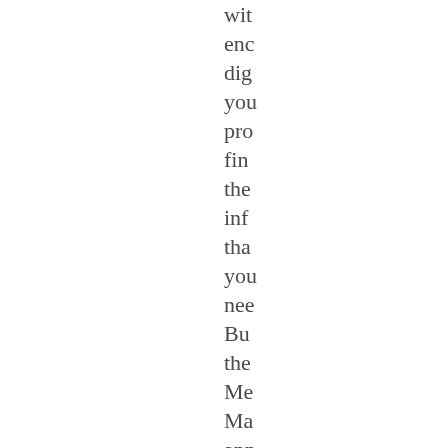wit
enc
dig
you
pro
fin
the
inf
tha
you
nee
Bu
the
Me
Ma
app
are
exc
sou